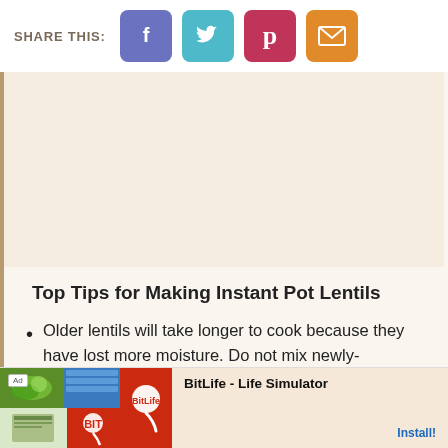SHARE THIS:
[Figure (infographic): Social share buttons: Facebook (purple), Twitter (teal), Pinterest (pink/red), Email (orange)]
[Figure (photo): Large image area with warm beige background (content image placeholder)]
Top Tips for Making Instant Pot Lentils
Older lentils will take longer to cook because they have lost more moisture. Do not mix newly-purchased lentils with old ones because
[Figure (screenshot): Ad banner for BitLife - Life Simulator app with install button]